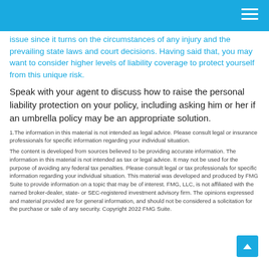issue since it turns on the circumstances of any injury and the prevailing state laws and court decisions. Having said that, you may want to consider higher levels of liability coverage to protect yourself from this unique risk.
Speak with your agent to discuss how to raise the personal liability protection on your policy, including asking him or her if an umbrella policy may be an appropriate solution.
1.The information in this material is not intended as legal advice. Please consult legal or insurance professionals for specific information regarding your individual situation.
The content is developed from sources believed to be providing accurate information. The information in this material is not intended as tax or legal advice. It may not be used for the purpose of avoiding any federal tax penalties. Please consult legal or tax professionals for specific information regarding your individual situation. This material was developed and produced by FMG Suite to provide information on a topic that may be of interest. FMG, LLC, is not affiliated with the named broker-dealer, state- or SEC-registered investment advisory firm. The opinions expressed and material provided are for general information, and should not be considered a solicitation for the purchase or sale of any security. Copyright 2022 FMG Suite.